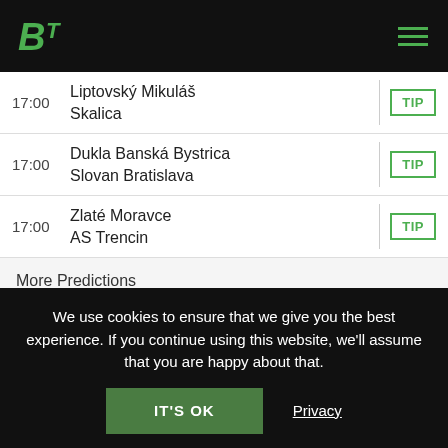BT logo and hamburger menu
17:00 | Liptovský Mikuláš vs Skalica | TIP
17:00 | Dukla Banská Bystrica vs Slovan Bratislava | TIP
17:00 | Zlaté Moravce vs AS Trencin | TIP
More Predictions
17:30 | Kalju Nomme vs Paide | TIP
We use cookies to ensure that we give you the best experience. If you continue using this website, we'll assume that you are happy about that.
IT'S OK
Privacy